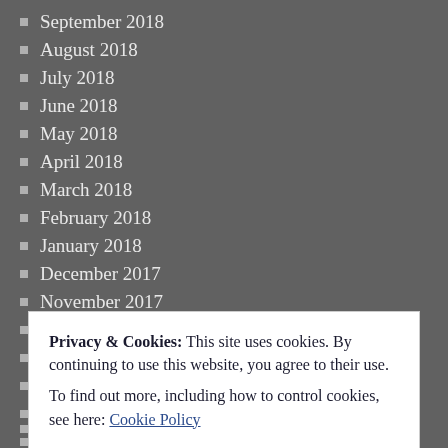September 2018
August 2018
July 2018
June 2018
May 2018
April 2018
March 2018
February 2018
January 2018
December 2017
November 2017
October 2017
September 2017
August 2017
July 2017
June 2017
May 2017
Privacy & Cookies: This site uses cookies. By continuing to use this website, you agree to their use. To find out more, including how to control cookies, see here: Cookie Policy
September 2016